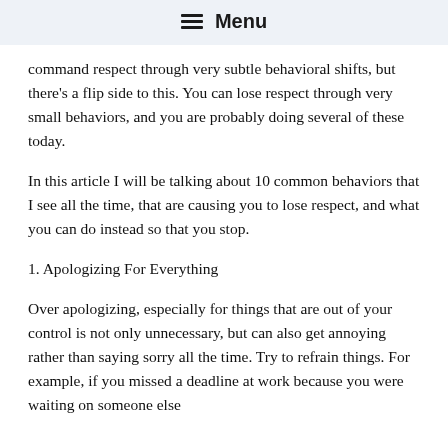≡ Menu
command respect through very subtle behavioral shifts, but there's a flip side to this. You can lose respect through very small behaviors, and you are probably doing several of these today.
In this article I will be talking about 10 common behaviors that I see all the time, that are causing you to lose respect, and what you can do instead so that you stop.
1. Apologizing For Everything
Over apologizing, especially for things that are out of your control is not only unnecessary, but can also get annoying rather than saying sorry all the time. Try to refrain things. For example, if you missed a deadline at work because you were waiting on someone else